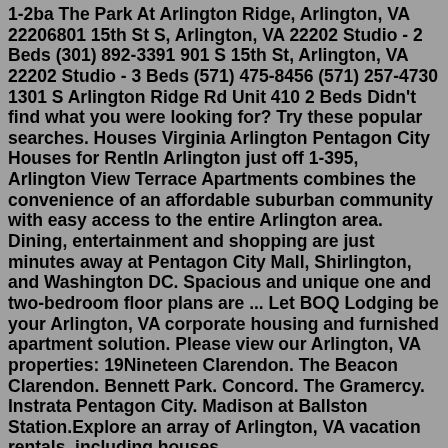1-2ba The Park At Arlington Ridge, Arlington, VA 22206801 15th St S, Arlington, VA 22202 Studio - 2 Beds (301) 892-3391 901 S 15th St, Arlington, VA 22202 Studio - 3 Beds (571) 475-8456 (571) 257-4730 1301 S Arlington Ridge Rd Unit 410 2 Beds Didn't find what you were looking for? Try these popular searches. Houses Virginia Arlington Pentagon City Houses for RentIn Arlington just off 1-395, Arlington View Terrace Apartments combines the convenience of an affordable suburban community with easy access to the entire Arlington area. Dining, entertainment and shopping are just minutes away at Pentagon City Mall, Shirlington, and Washington DC. Spacious and unique one and two-bedroom floor plans are ... Let BOQ Lodging be your Arlington, VA corporate housing and furnished apartment solution. Please view our Arlington, VA properties: 19Nineteen Clarendon. The Beacon Clarendon. Bennett Park. Concord. The Gramercy. Instrata Pentagon City. Madison at Ballston Station.Explore an array of Arlington, VA vacation rentals, including houses,